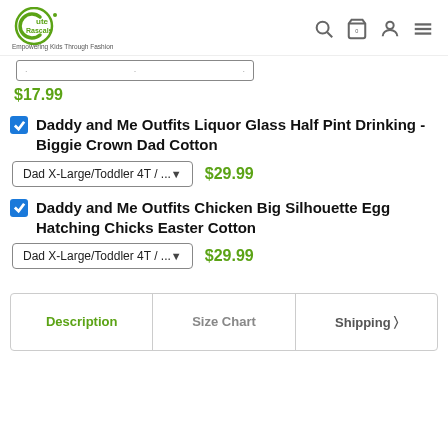Cute Rascals — Empowering Kids Through Fashion
$17.99
Daddy and Me Outfits Liquor Glass Half Pint Drinking - Biggie Crown Dad Cotton — Dad X-Large/Toddler 4T / ... — $29.99
Daddy and Me Outfits Chicken Big Silhouette Egg Hatching Chicks Easter Cotton — Dad X-Large/Toddler 4T / ... — $29.99
Description | Size Chart | Shipping >